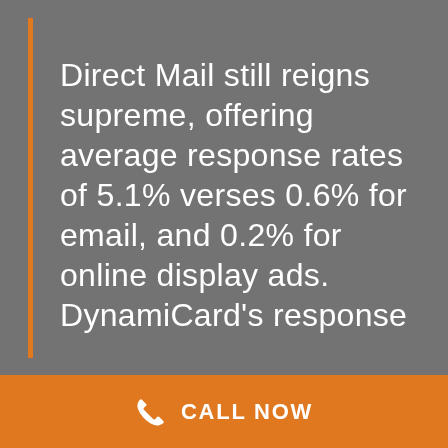Direct Mail still reigns supreme, offering average response rates of 5.1% verses 0.6% for email, and 0.2% for online display ads. DynamiCard's response
CALL NOW